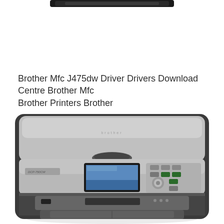[Figure (photo): Partial top view of a Brother printer/scanner device, cropped at the top of the page]
Brother Mfc J475dw Driver Drivers Download Centre Brother Mfc Brother Printers Brother
[Figure (photo): Front top view of a Brother DCP-series multifunction inkjet printer showing the control panel with LCD screen, navigation buttons, and card reader slots]